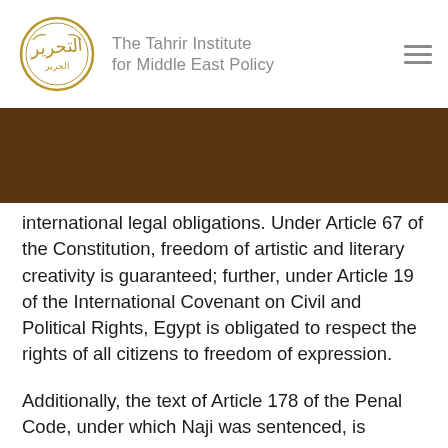The Tahrir Institute for Middle East Policy
international legal obligations. Under Article 67 of the Constitution, freedom of artistic and literary creativity is guaranteed; further, under Article 19 of the International Covenant on Civil and Political Rights, Egypt is obligated to respect the rights of all citizens to freedom of expression.
Additionally, the text of Article 178 of the Penal Code, under which Naji was sentenced, is